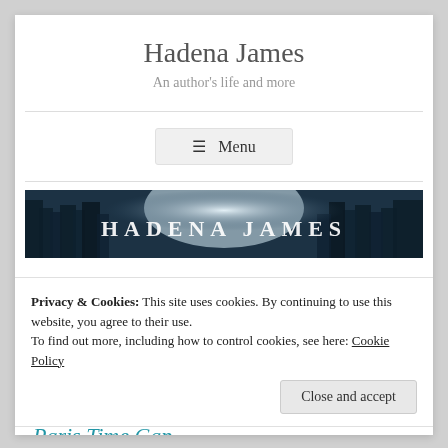Hadena James
An author's life and more
≡ Menu
[Figure (illustration): Dark forest banner image with text HADENA JAMES in large serif letters over a misty blue forest background]
Privacy & Cookies: This site uses cookies. By continuing to use this website, you agree to their use.
To find out more, including how to control cookies, see here: Cookie Policy
Close and accept
Paris Time Gap